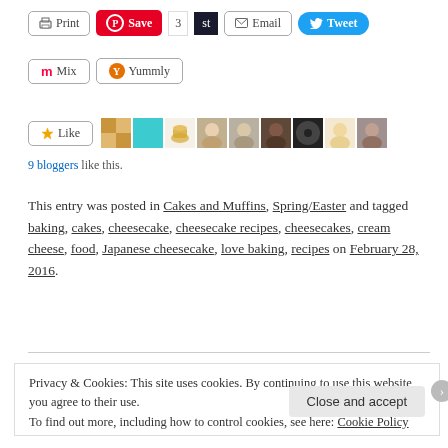[Figure (screenshot): Social sharing buttons row 1: Print, Save (Pinterest), count 3, st, Email, Tweet]
[Figure (screenshot): Social sharing buttons row 2: Mix, Yummly]
[Figure (screenshot): Like button with blogger avatars]
9 bloggers like this.
This entry was posted in Cakes and Muffins, Spring/Easter and tagged baking, cakes, cheesecake, cheesecake recipes, cheesecakes, cream cheese, food, Japanese cheesecake, love baking, recipes on February 28, 2016.
Privacy & Cookies: This site uses cookies. By continuing to use this website, you agree to their use.
To find out more, including how to control cookies, see here: Cookie Policy
Close and accept